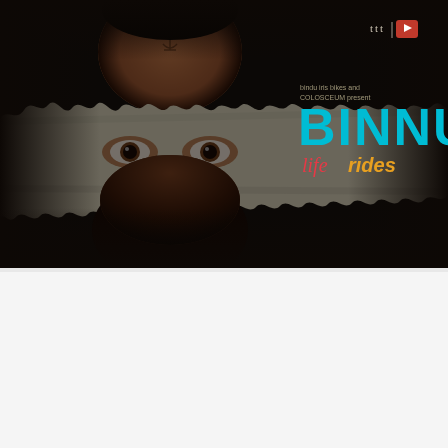[Figure (illustration): Movie poster for 'Binnu Life Rides' showing a dark dramatic image of a face split by a torn paper strip revealing eyes. The top portion shows an upside-down face on dark background with an anchor symbol. A beige torn paper strip cuts across the middle revealing eyes. Below is the lower face with beard. To the right is the title 'BINNU' in large cyan/teal letters with 'life' in red italic and 'rides' in orange italic below. Top right corner has 'ttt' logo and a small badge. Text reads 'bindu iris bikes and COLOSCEUM present'.]
Synopsis
Binnu carries the multiple lives he has witnessed in his mind.
His dreams get filtered and nightmares remain unshed.
An uneasy cycle of violence bursts beneath the